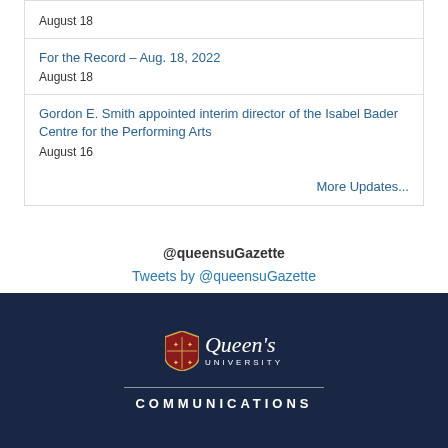August 18
For the Record – Aug. 18, 2022
August 18
Gordon E. Smith appointed interim director of the Isabel Bader Centre for the Performing Arts
August 16
More Updates...
@queensuGazette
Tweets by @queensuGazette
[Figure (logo): Queen's University logo with shield crest and text 'Queen's UNIVERSITY']
COMMUNICATIONS